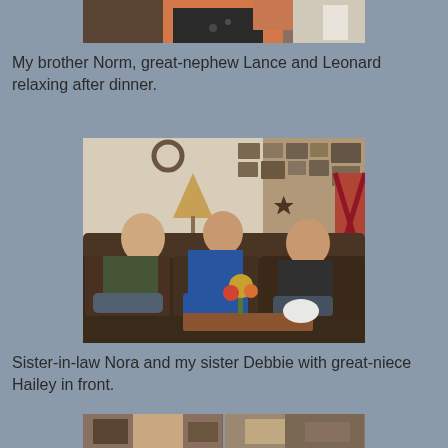[Figure (photo): Partial photo at top showing people, cropped — only lower portion visible with orange/coral colored clothing]
My brother Norm, great-nephew Lance and Leonard relaxing after dinner.
[Figure (photo): Three men relaxing on a large brown sectional sofa in a living room with many framed photos on the wall. Coffee table with floral arrangement in foreground.]
Sister-in-law Nora and my sister Debbie with great-niece Hailey in front.
[Figure (photo): Partial photo at bottom, two photos side by side, partially cropped]